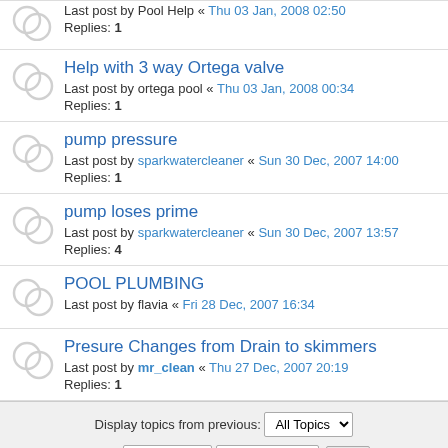Last post by Pool Help « Thu 03 Jan, 2008 02:50
Replies: 1
Help with 3 way Ortega valve
Last post by ortega pool « Thu 03 Jan, 2008 00:34
Replies: 1
pump pressure
Last post by sparkwatercleaner « Sun 30 Dec, 2007 14:00
Replies: 1
pump loses prime
Last post by sparkwatercleaner « Sun 30 Dec, 2007 13:57
Replies: 4
POOL PLUMBING
Last post by flavia « Fri 28 Dec, 2007 16:34
Presure Changes from Drain to skimmers
Last post by mr_clean « Thu 27 Dec, 2007 20:19
Replies: 1
Display topics from previous: All Topics ▾
Sort by Post time ▾ Descending ▾ Go